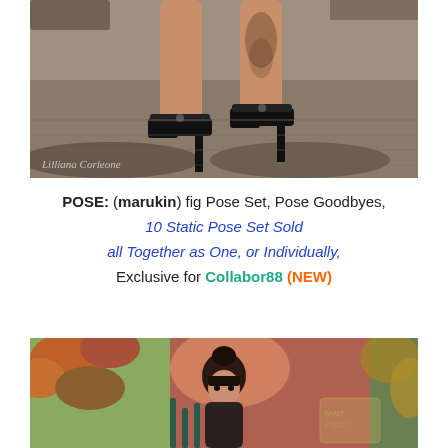[Figure (photo): Close-up photo of a virtual avatar's legs wearing very high black platform stiletto heels, with tattoo visible on one leg, on a cobblestone ground. Watermark 'Lilliana Corleone' in bottom left.]
POSE: (marukin) fig Pose Set, Pose Goodbyes, 10 Static Pose Set Sold all Together as One, or Individually, Exclusive for Collabor88 (NEW)
[Figure (photo): Photo of a virtual avatar female character with dark hair bun and bangs, wearing dark clothing, in a colorful fairground/carnival setting with trees and decorative background.]